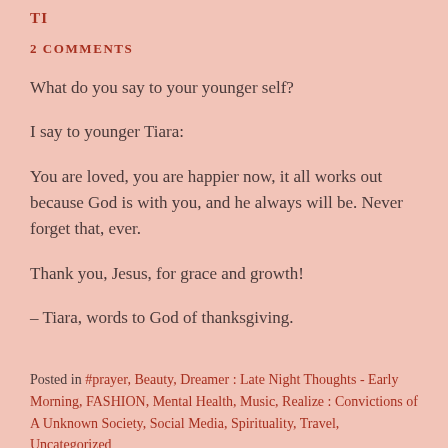TI
2 COMMENTS
What do you say to your younger self?
I say to younger Tiara:
You are loved, you are happier now, it all works out because God is with you, and he always will be. Never forget that, ever.
Thank you, Jesus, for grace and growth!
– Tiara, words to God of thanksgiving.
Posted in #prayer, Beauty, Dreamer : Late Night Thoughts - Early Morning, FASHION, Mental Health, Music, Realize : Convictions of A Unknown Society, Social Media, Spirituality, Travel, Uncategorized